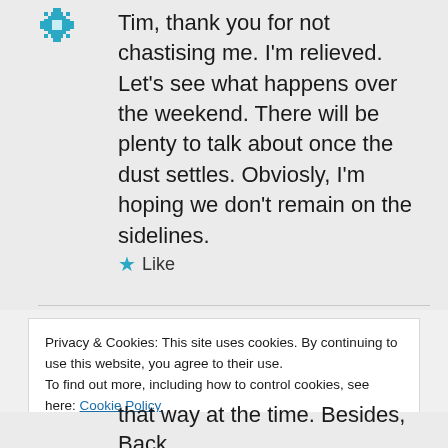[Figure (illustration): Small teal/cyan pixel-art avatar icon in top-left of comment area]
Tim, thank you for not chastising me. I'm relieved. Let's see what happens over the weekend. There will be plenty to talk about once the dust settles. Obviosly, I'm hoping we don't remain on the sidelines.
★ Like
Privacy & Cookies: This site uses cookies. By continuing to use this website, you agree to their use.
To find out more, including how to control cookies, see here: Cookie Policy
Close and accept
that way at the time. Besides, Back